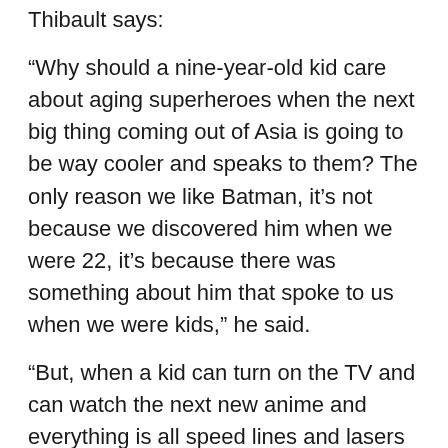Thibault says:
“Why should a nine-year-old kid care about aging superheroes when the next big thing coming out of Asia is going to be way cooler and speaks to them? The only reason we like Batman, it’s not because we discovered him when we were 22, it’s because there was something about him that spoke to us when we were kids,” he said.
“But, when a kid can turn on the TV and can watch the next new anime and everything is all speed lines and lasers and everything is just epic … why should they care?”
According to Vertigo Comics writer Chris Roberson, “in the attempt to do the kinds of comics that will appeal to the mythical ‘mainstream’ audience while not offending the traditional fanbase … the risk that publishers run in chasing that strategy is to end up pleasing neither … The